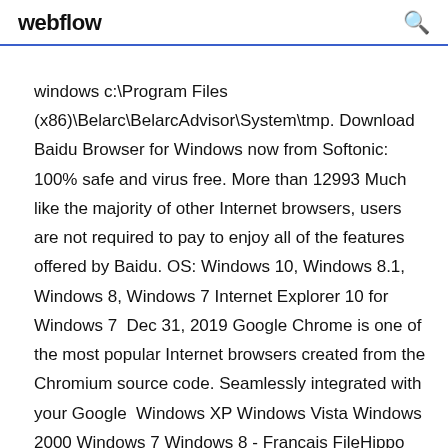webflow
windows c:\Program Files (x86)\Belarc\BelarcAdvisor\System\tmp. Download Baidu Browser for Windows now from Softonic: 100% safe and virus free. More than 12993 Much like the majority of other Internet browsers, users are not required to pay to enjoy all of the features offered by Baidu. OS: Windows 10, Windows 8.1, Windows 8, Windows 7 Internet Explorer 10 for Windows 7  Dec 31, 2019 Google Chrome is one of the most popular Internet browsers created from the Chromium source code. Seamlessly integrated with your Google  Windows XP Windows Vista Windows 2000 Windows 7 Windows 8 - Français FileHippo App Manager (anciennement